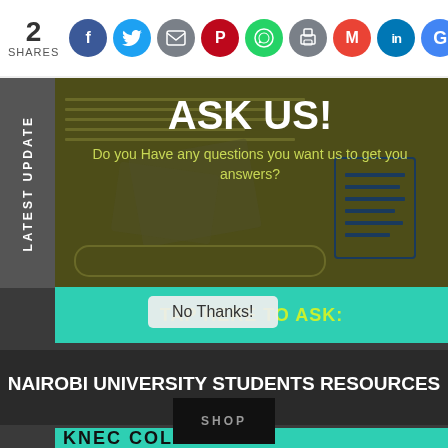2 SHARES
[Figure (infographic): Social sharing icons: Facebook, Twitter, Email, Pinterest, WhatsApp, Print, Gmail, LinkedIn, Google]
[Figure (infographic): Ask Us! promotional banner with dark olive background. Text: ASK US! Do you Have any questions you want us to get you answers?]
TAP HERE TO ASK:
No Thanks!
NAIROBI UNIVERSITY STUDENTS RESOURCES
SHOP
KNEC COLLEGE